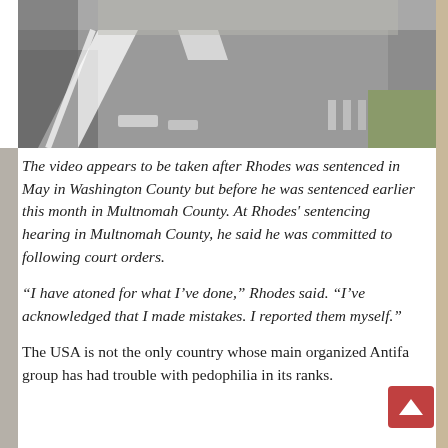[Figure (photo): Aerial or ground-level photo of a road intersection or street, showing asphalt pavement with white painted markings and a small patch of grass at the edge.]
The video appears to be taken after Rhodes was sentenced in May in Washington County but before he was sentenced earlier this month in Multnomah County. At Rhodes' sentencing hearing in Multnomah County, he said he was committed to following court orders.
“I have atoned for what I’ve done,” Rhodes said. “I’ve acknowledged that I made mistakes. I reported them myself.”
The USA is not the only country whose main organized Antifa group has had trouble with pedophilia in its ranks.